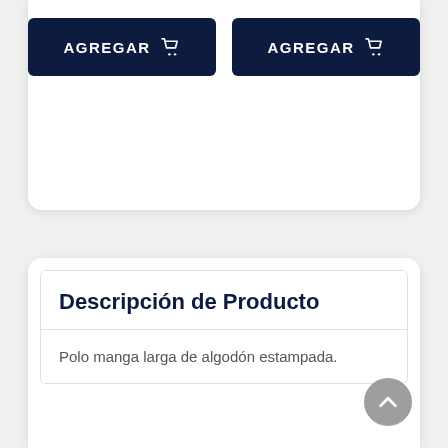[Figure (screenshot): Two dark navy 'AGREGAR' (Add to cart) buttons with shopping cart icons, side by side inside a white card at the top of the page.]
Descripción de Producto
Polo manga larga de algodón estampada.
Atributos